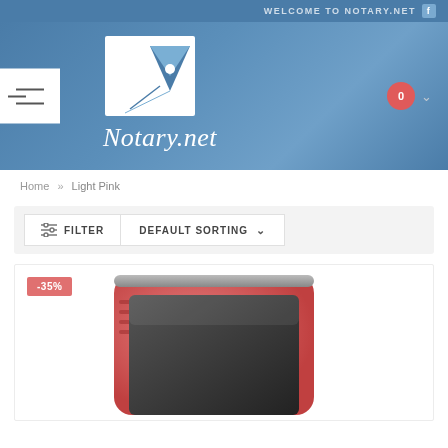WELCOME TO NOTARY.NET  f
[Figure (logo): Notary.net logo with pen nib icon and cursive Notary.net text on blue background]
Home » Light Pink
FILTER   DEFAULT SORTING
[Figure (photo): Red/pink self-inking stamp product photo with -35% discount badge]